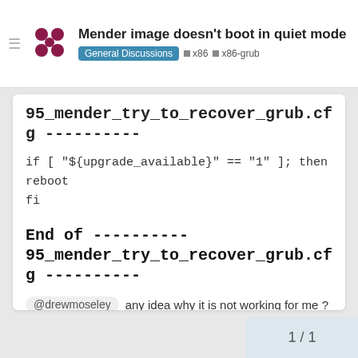Mender image doesn't boot in quiet mode | General Discussions | x86 | x86-grub
95_mender_try_to_recover_grub.cfg ----------
if [ "${upgrade_available}" == "1" ]; then
reboot
fi
End of ---------- 95_mender_try_to_recover_grub.cfg ----------
@drewmoseley any idea why it is not working for me ?
1 / 1